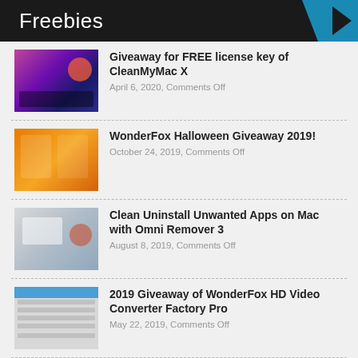Freebies
Giveaway for FREE license key of CleanMyMac X
April 6, 2020, Comments Off
WonderFox Halloween Giveaway 2019!
October 24, 2019, Comments Off
Clean Uninstall Unwanted Apps on Mac with Omni Remover 3
August 8, 2019, Comments Off
2019 Giveaway of WonderFox HD Video Converter Factory Pro
May 22, 2019, Comments Off
Giveaway of imDesktop
April 11, 2019, Comments Off
[Giveaway] A Unique Productivity hack that can save you 100's of hours at work!